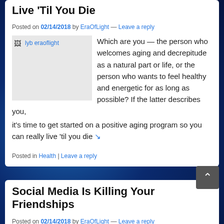Live 'Til You Die
Posted on 02/14/2018 by EraOfLight — Leave a reply
[Figure (photo): Image placeholder for lyb eraoflight]
Which are you — the person who welcomes aging and decrepitude as a natural part or life, or the person who wants to feel healthy and energetic for as long as possible? If the latter describes you, it's time to get started on a positive aging program so you can really live 'til you die ↘
Posted in Health | Leave a reply
Social Media Is Killing Your Friendships
Posted on 02/14/2018 by EraOfLight — Leave a reply